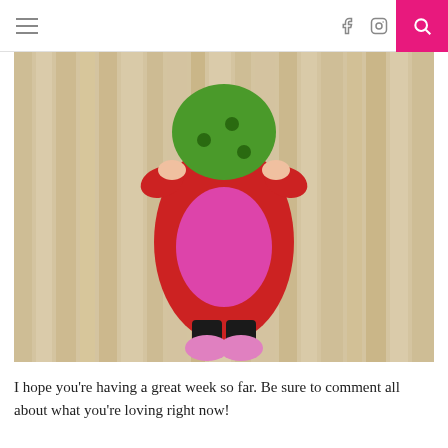Navigation header with hamburger menu, Facebook and Instagram icons, and search button
[Figure (photo): A toddler in a red outfit holding a green ball/helmet, wearing pink shoes, standing on a light wood floor, photographed from above]
I hope you're having a great week so far. Be sure to comment all about what you're loving right now!